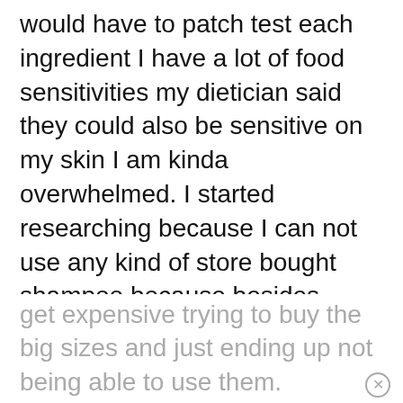would have to patch test each ingredient I have a lot of food sensitivities my dietician said they could also be sensitive on my skin I am kinda overwhelmed. I started researching because I can not use any kind of store bought shampoo because besides coconut I am allergic to fragrance and the alcohol they use in essential oils. So I was hoping that I could make a shampoo bar or a soap that I could use for both that was just very basic. What I was hoping is I could get maybe small amounts of different ingredients so I could test them but I don't think any company is going to be able just to sell me samples so I can do that and it can get expensive trying to buy the big sizes and just ending up not being able to use them.